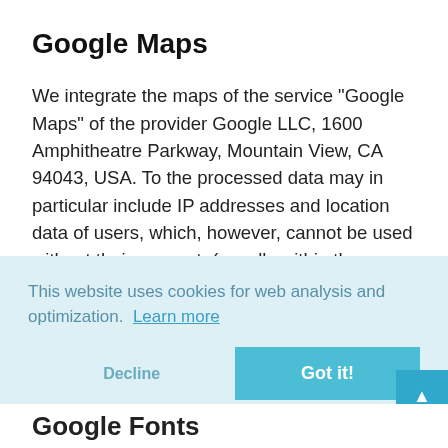Google Maps
We integrate the maps of the service "Google Maps" of the provider Google LLC, 1600 Amphitheatre Parkway, Mountain View, CA 94043, USA. To the processed data may in particular include IP addresses and location data of users, which, however, cannot be used without their consent. (usually within the framework of the settings of their mobile
This website uses cookies for web analysis and optimization.  Learn more
Decline
Got it!
Google Fonts